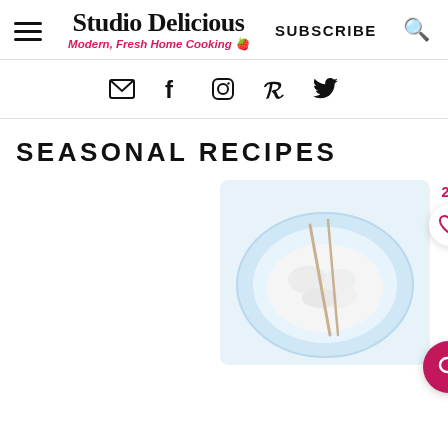Studio Delicious — Modern, Fresh Home Cooking
[Figure (screenshot): Website header with hamburger menu, Studio Delicious logo and tagline, SUBSCRIBE link, and search icon]
[Figure (screenshot): Social media icon bar with email, Facebook, Instagram, Pinterest, and Twitter icons]
SEASONAL RECIPES
[Figure (photo): Food photo showing a white bowl with a cream/rice dish on a light blue plate, with a heart/like button showing 23 likes and a pink search button]